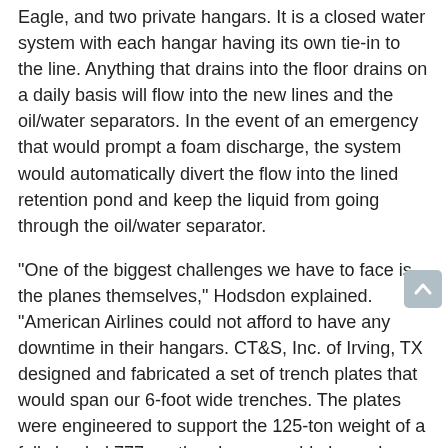Eagle, and two private hangars. It is a closed water system with each hangar having its own tie-in to the line. Anything that drains into the floor drains on a daily basis will flow into the new lines and the oil/water separators. In the event of an emergency that would prompt a foam discharge, the system would automatically divert the flow into the lined retention pond and keep the liquid from going through the oil/water separator.
"One of the biggest challenges we have to face is the planes themselves," Hodsdon explained. "American Airlines could not afford to have any downtime in their hangars. CT&S, Inc. of Irving, TX designed and fabricated a set of trench plates that would span our 6-foot wide trenches. The plates were engineered to support the 125-ton weight of a fully loaded 777, so the planes would always have access to the hangars. The plates are 1-1/4 inch